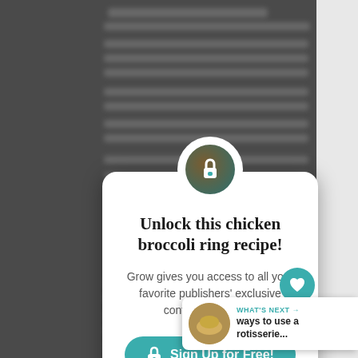[Figure (screenshot): A content-gate modal overlay on a recipe website. The modal reads 'Unlock this chicken broccoli ring recipe!' with body text 'Grow gives you access to all your favorite publishers' exclusive content, and more!' and a teal 'Sign Up for Free!' button with a lock icon. There is also a social sidebar showing a heart icon with '3.8K', a share icon, and a 'WHAT'S NEXT' bar at the bottom right showing 'ways to use a rotisserie...']